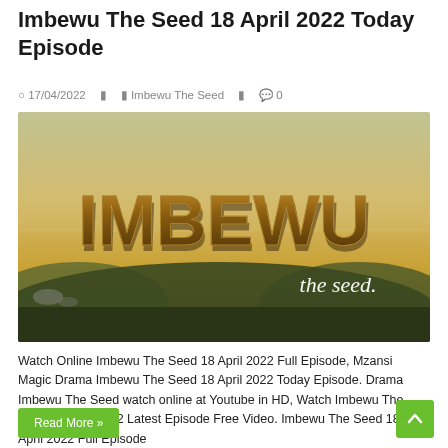Imbewu The Seed 18 April 2022 Today Episode
17/04/2022   Imbewu The Seed   0
[Figure (photo): Promotional image for 'Imbewu The Seed' TV show. Dark golden/brown stylized 3D text reading 'IMBEWU' with a hilly landscape background. Below it italic white text reads 'the seed.']
Watch Online Imbewu The Seed 18 April 2022 Full Episode, Mzansi Magic Drama Imbewu The Seed 18 April 2022 Today Episode. Drama Imbewu The Seed watch online at Youtube in HD, Watch Imbewu The Seed 18 April 2022 Latest Episode Free Video. Imbewu The Seed 18 April 2022 Full Episode
Read More »